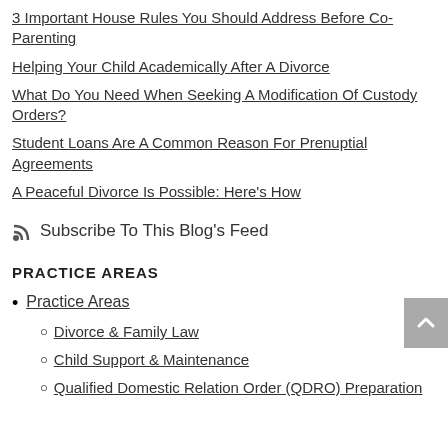3 Important House Rules You Should Address Before Co-Parenting
Helping Your Child Academically After A Divorce
What Do You Need When Seeking A Modification Of Custody Orders?
Student Loans Are A Common Reason For Prenuptial Agreements
A Peaceful Divorce Is Possible: Here's How
Subscribe To This Blog's Feed
PRACTICE AREAS
Practice Areas
Divorce & Family Law
Child Support & Maintenance
Qualified Domestic Relation Order (QDRO) Preparation